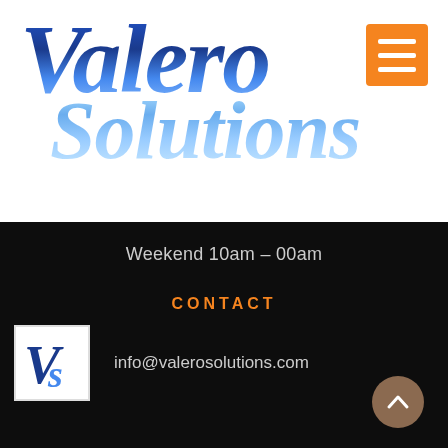[Figure (logo): Valero Solutions 3D styled logo with dark blue 'Valero' text and light blue 'Solutions' text on white background, with orange hamburger menu button in top-right corner]
Weekend 10am – 00am
CONTACT
[Figure (logo): VS monogram logo — blue V and S letters on white background]
info@valerosolutions.com